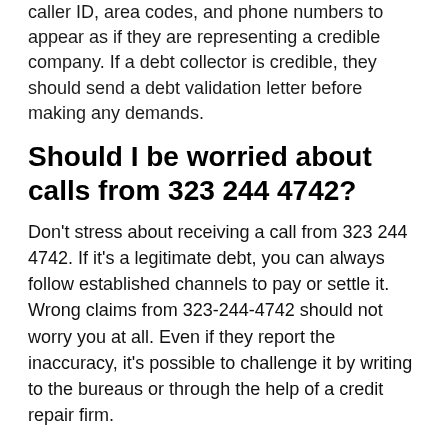caller ID, area codes, and phone numbers to appear as if they are representing a credible company. If a debt collector is credible, they should send a debt validation letter before making any demands.
Should I be worried about calls from 323 244 4742?
Don't stress about receiving a call from 323 244 4742. If it's a legitimate debt, you can always follow established channels to pay or settle it. Wrong claims from 323-244-4742 should not worry you at all. Even if they report the inaccuracy, it's possible to challenge it by writing to the bureaus or through the help of a credit repair firm.
Similar number to 323-244-4742